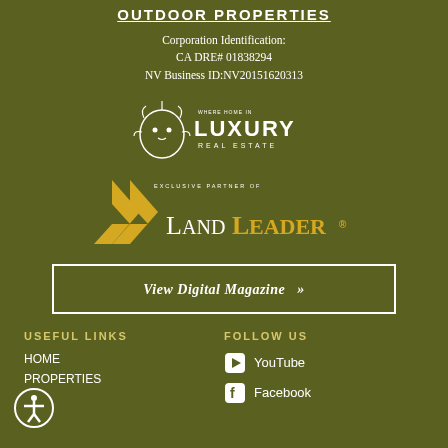OUTDOOR PROPERTIES
Corporation Identification:
CA DRE# 01838294
NV Business ID:NV20151620313
[Figure (logo): Luxury Real Estate logo with lion icon and text 'WHERE HOME IS LUXURY REAL ESTATE']
[Figure (logo): LandLeader logo with double chevron arrow and text 'EXCLUSIVE PARTNER OF LANDLEADER']
View Digital Magazine »
USEFUL LINKS
FOLLOW US
HOME
PROPERTIES
YouTube
Facebook